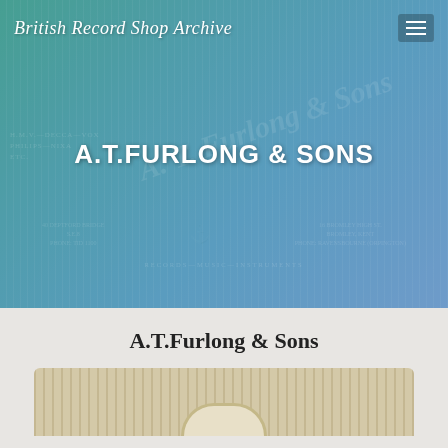British Record Shop Archive
A.T.FURLONG & SONS
[Figure (photo): Background image of a striped record shop bag with watermark text showing A.T. Furlong & Sons branding, with text including H.M.V.—DECCA—VOX, PHILIPS—NIXA, ETC., addresses at Deptford Bridge and Bromley High St., and RECORDS—MUSIC—INSTRUMENTS]
A.T.Furlong & Sons
[Figure (photo): Bottom portion of a striped shopping bag from A.T.Furlong & Sons record shop, showing characteristic stripe pattern in beige/tan tones]